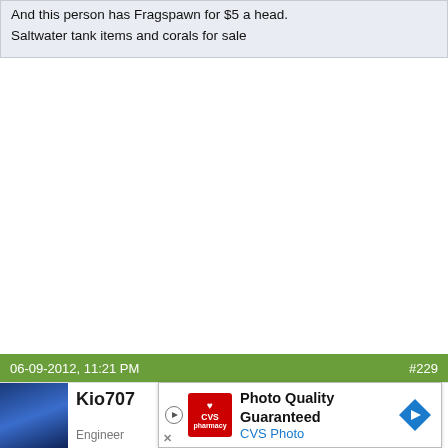And this person has Fragspawn for $5 a head.
Saltwater tank items and corals for sale
06-09-2012, 11:21 PM   #229
Kio707
Join Date: Jul 2011
Location: Colorado
Engineer
[Figure (screenshot): CVS Photo advertisement overlay: 'Photo Quality Guaranteed' with CVS pharmacy logo and navigation arrow icon]